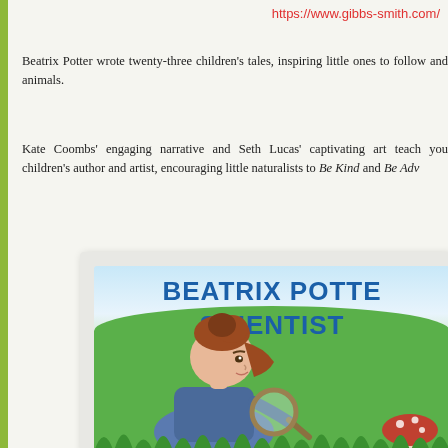https://www.gibbs-smith.com/
Beatrix Potter wrote twenty-three children's tales, inspiring little ones to follow and animals.
Kate Coombs' engaging narrative and Seth Lucas' captivating art teach you children's author and artist, encouraging little naturalists to Be Kind and Be Adv...
[Figure (illustration): Book cover of 'Beatrix Potter Scientist' showing a girl with red hair examining something with a magnifying glass in a grassy field, with mushrooms visible. Title text in bold blue reads 'BEATRIX POTTER SCIENTIST'.]